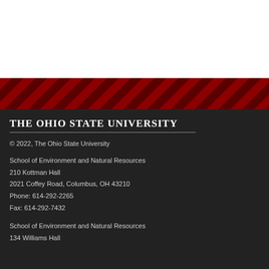[Figure (other): Diagonal red and dark red striped band pattern across the page]
The Ohio State University
© 2022, The Ohio State University
School of Environment and Natural Resources
210 Kottman Hall
2021 Coffey Road, Columbus, OH 43210
Phone: 614-292-2265
Fax: 614-292-7432
School of Environment and Natural Resources
134 Williams Hall